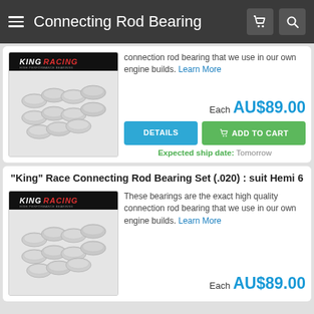Connecting Rod Bearing
connection rod bearing that we use in our own engine builds. Learn More
Each AU$89.00
Expected ship date: Tomorrow
"King" Race Connecting Rod Bearing Set (.020) : suit Hemi 6
[Figure (photo): King Racing brand connecting rod bearings - metal half-shell bearing set photographed on white background]
These bearings are the exact high quality connection rod bearing that we use in our own engine builds. Learn More
Each AU$89.00
[Figure (photo): King Racing brand connecting rod bearings - metal half-shell bearing set photographed on white background, second product listing]